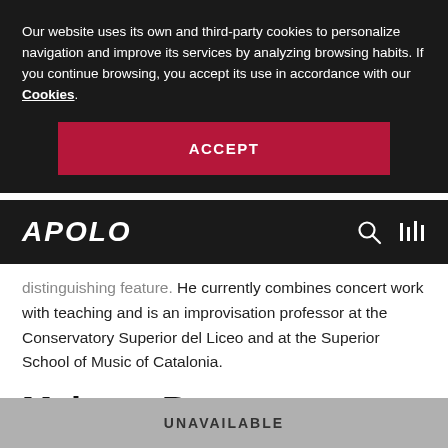Our website uses its own and third-party cookies to personalize navigation and improve its services by analyzing browsing habits. If you continue browsing, you accept its use in accordance with our Cookies.
ACCEPT
APOLO
distinguishing feature. He currently combines concert work with teaching and is an improvisation professor at the Conservatory Superior del Liceo and at the Superior School of Music of Catalonia.
Maitane Beaumont, Morning
UNAVAILABLE